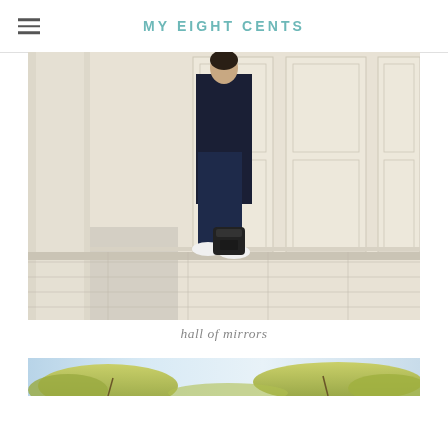MY EIGHT CENTS
[Figure (photo): Person standing against ornate cream-colored paneled wall, wearing dark navy sweater and jeans with white sneakers, holding a black Kenzo backpack on the floor beside them. Marble tile floor visible.]
hall of mirrors
[Figure (photo): Partial view of trees with yellow-green leaves against a light blue sky, cropped to a narrow horizontal strip.]